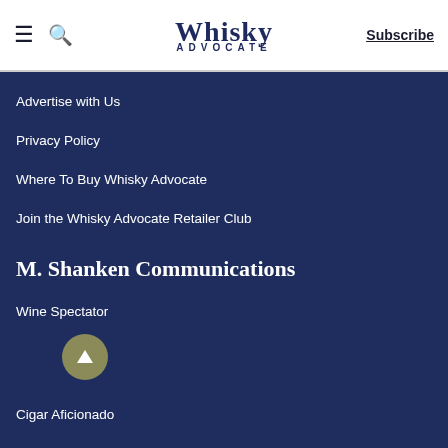Whisky Advocate | Subscribe
Advertise with Us
Privacy Policy
Where To Buy Whisky Advocate
Join the Whisky Advocate Retailer Club
M. Shanken Communications
Wine Spectator
Cigar Aficionado